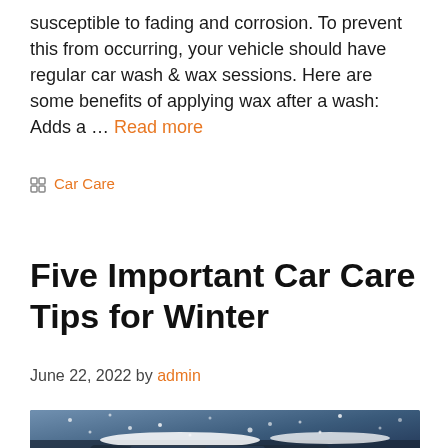susceptible to fading and corrosion. To prevent this from occurring, your vehicle should have regular car wash & wax sessions. Here are some benefits of applying wax after a wash: Adds a … Read more
Car Care
Five Important Car Care Tips for Winter
June 22, 2022 by admin
[Figure (photo): Photo of a car in winter/snowy conditions, dark tones with snow visible]